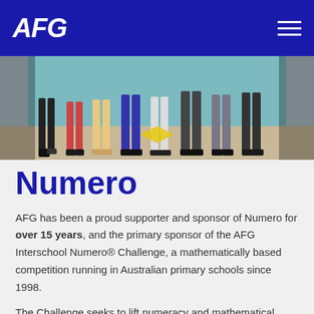AFG
[Figure (photo): Group of people standing at an event, photographed from the waist/legs down, in front of a teal/blue banner backdrop.]
Numero
AFG has been a proud supporter and sponsor of Numero for over 15 years, and the primary sponsor of the AFG Interschool Numero® Challenge, a mathematically based competition running in Australian primary schools since 1998.
The Challenge seeks to lift numeracy and mathematical skills in primary aged children